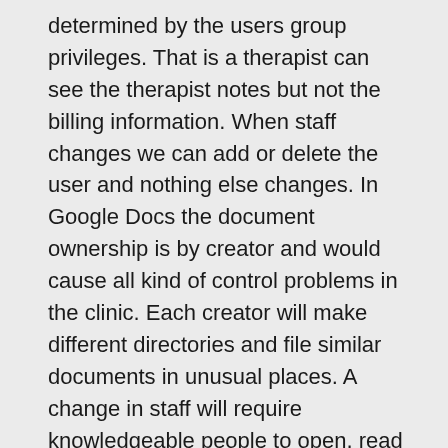determined by the users group privileges. That is a therapist can see the therapist notes but not the billing information. When staff changes we can add or delete the user and nothing else changes. In Google Docs the document ownership is by creator and would cause all kind of control problems in the clinic. Each creator will make different directories and file similar documents in unusual places. A change in staff will require knowledgeable people to open, read and refile each document. etc...